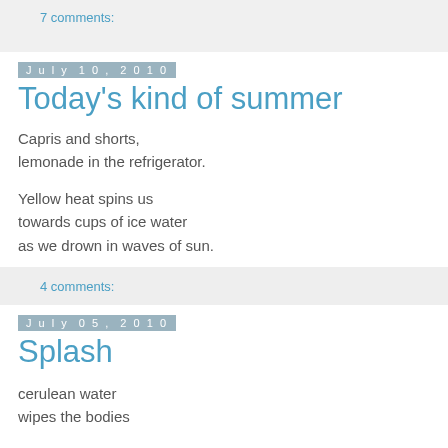7 comments:
July 10, 2010
Today's kind of summer
Capris and shorts,
lemonade in the refrigerator.

Yellow heat spins us
towards cups of ice water
as we drown in waves of sun.
4 comments:
July 05, 2010
Splash
cerulean water
wipes the bodies